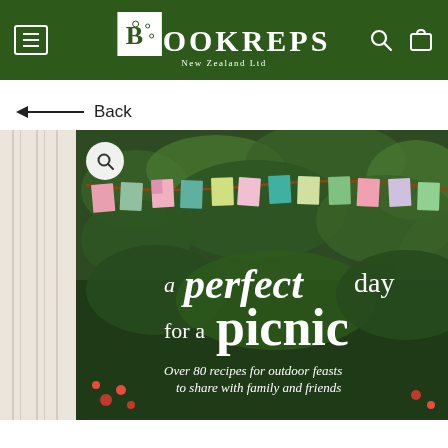BOOKREPS New Zealand Ltd
← Back
[Figure (photo): Book cover of 'a perfect day for a picnic' showing colorful bunting/flags hanging on a string with garden foliage in the background. Text reads: 'a perfect day for a picnic - Over 80 recipes for outdoor feasts to share with family and friends']